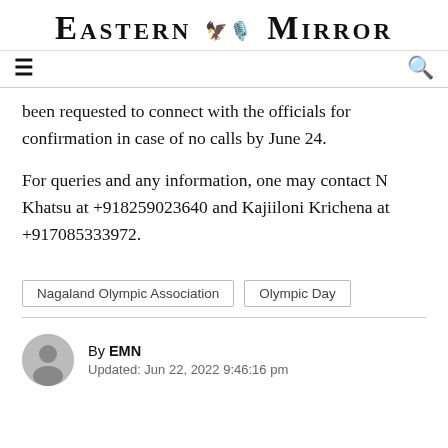Eastern Mirror
been requested to connect with the officials for confirmation in case of no calls by June 24.
For queries and any information, one may contact N Khatsu at +918259023640 and Kajiiloni Krichena at +917085333972.
Nagaland Olympic Association
Olympic Day
By EMN
Updated: Jun 22, 2022 9:46:16 pm